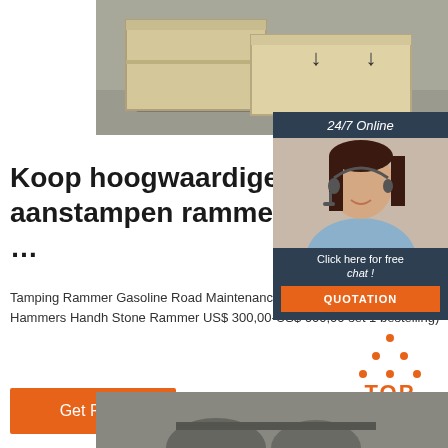[Figure (photo): Wooden crates on a pallet in a warehouse]
[Figure (photo): Customer service representative with headset, 24/7 online chat panel with QUOTATION button]
Koop hoogwaardige zand aanstampen rammer opties ...
Tamping Rammer Gasoline Road Maintenance Industrial Sand Rammers Air Hammers Handh Stone Rammer US$ 300,00-US$ 600,00 set 1 bestelling)
[Figure (other): Orange Get Price button]
[Figure (logo): Orange TOP badge with dot triangle]
[Figure (photo): Bottom photograph partially visible]